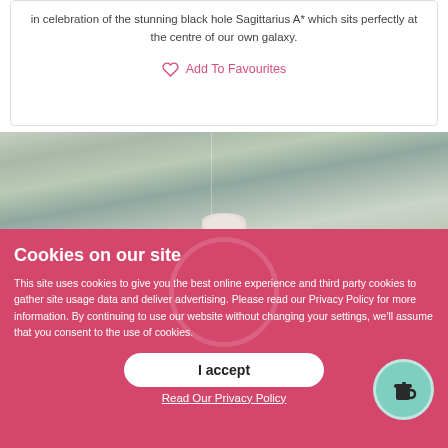in celebration of the stunning black hole Sagittarius A* which sits perfectly at the centre of our own galaxy.
Add To Favourites
[Figure (photo): Close-up photo of weathered wooden planks with a small rounded object visible at the bottom center]
Cookies on our site
This site uses cookies to give you the best online experience and third party cookies to gather site usage data and deliver advertising. Please read our Privacy Policy for more information. By continuing to use our website without changing your settings, we'll assume that you consent to the use of cookies.
I accept
Read Our Privacy Policy